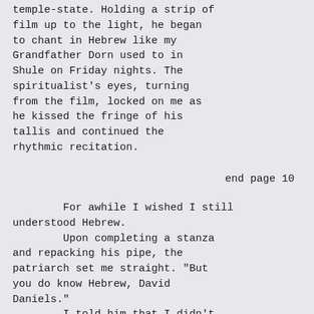temple-state. Holding a strip of film up to the light, he began to chant in Hebrew like my Grandfather Dorn used to in Shule on Friday nights. The spiritualist's eyes, turning from the film, locked on me as he kissed the fringe of his tallis and continued the rhythmic recitation.
end page 10
For awhile I wished I still understood Hebrew.
      Upon completing a stanza and repacking his pipe, the patriarch set me straight. "But you do know Hebrew, David Daniels."
      I told him that I didn't